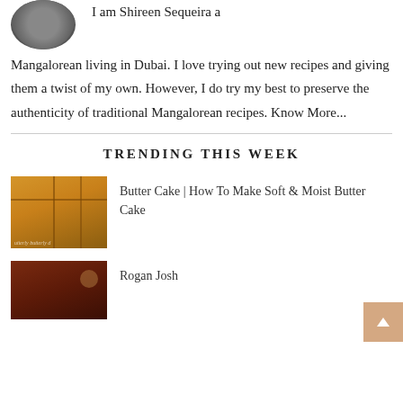[Figure (photo): Cropped circular avatar photo of Shireen Sequeira, showing bottom portion of face/shoulders]
I am Shireen Sequeira a Mangalorean living in Dubai. I love trying out new recipes and giving them a twist of my own. However, I do try my best to preserve the authenticity of traditional Mangalorean recipes. Know More...
TRENDING THIS WEEK
[Figure (photo): Photo of butter cake slices with golden-yellow color, cut into rectangles]
Butter Cake | How To Make Soft & Moist Butter Cake
[Figure (photo): Photo of Rogan Josh, a dark red meat curry dish]
Rogan Josh